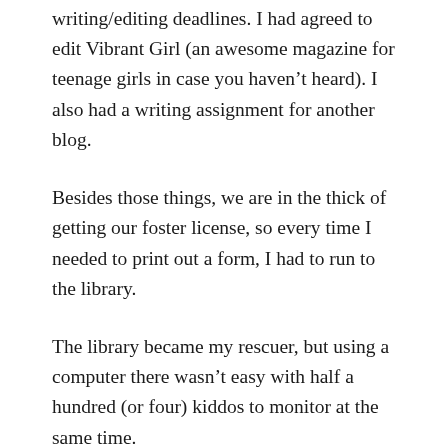writing/editing deadlines. I had agreed to edit Vibrant Girl (an awesome magazine for teenage girls in case you haven't heard). I also had a writing assignment for another blog.
Besides those things, we are in the thick of getting our foster license, so every time I needed to print out a form, I had to run to the library.
The library became my rescuer, but using a computer there wasn't easy with half a hundred (or four) kiddos to monitor at the same time.
A month slipped by, the bookkeeping fell behind, but we managed. Then yesterday, a box landed on our front